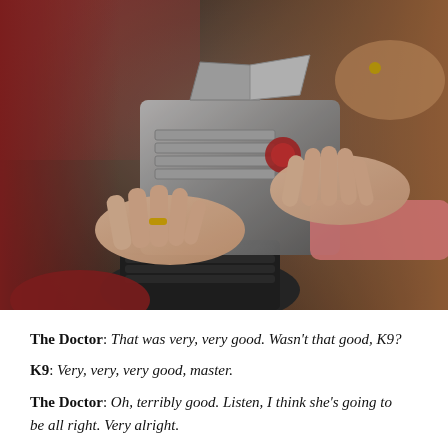[Figure (photo): Close-up photograph of multiple hands touching a metallic robot (K9 from Doctor Who). One hand on the left wears a gold ring and has a red sleeve. Another hand from the right wears a pink sleeve. The robot has a grey metallic body with horizontal slats and a flap on top. Background is blurred with hints of red and brown tones.]
The Doctor: That was very, very good. Wasn't that good, K9?
K9: Very, very, very good, master.
The Doctor: Oh, terribly good. Listen, I think she's going to be all right. Very alright.